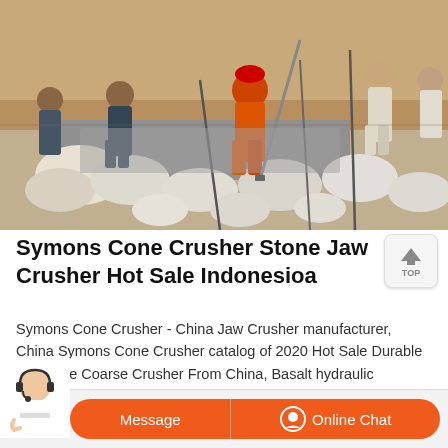[Figure (photo): Construction workers working on a stone and concrete foundation or paving project outdoors. Workers wearing orange and other colored clothing, with stones and concrete visible. Dry arid background.]
Symons Cone Crusher Stone Jaw Crusher Hot Sale Indonesioa
Symons Cone Crusher - China Jaw Crusher manufacturer, China Symons Cone Crusher catalog of 2020 Hot Sale Durable Extra fine Coarse Crusher From China, Basalt hydraulic PYFB0904 PYFB1308 compound Cone Crusher provided by China manufacturer - Hangzhou Cohesion Technology Co., Ltd., page1.
Message   Online Chat